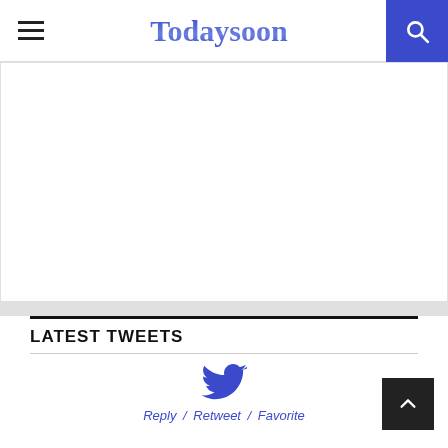Todaysoon
[Figure (other): White advertisement/content area]
LATEST TWEETS
[Figure (logo): Twitter bird icon in blue/indigo color]
Reply / Retweet / Favorite